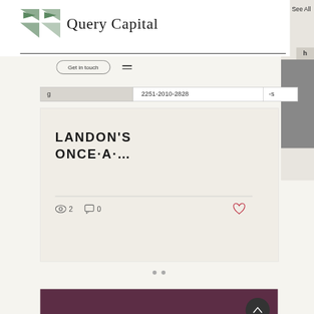See All
[Figure (logo): Query Capital logo with green geometric triangular mark and serif text 'Query Capital']
Get in touch
| g | 2251-2010-2828 | -s |
| --- | --- | --- |
LANDON'S ONCE-A-...
👁 2   💬 0   ♥
[Figure (photo): Dark purple/maroon image at the bottom of the page]